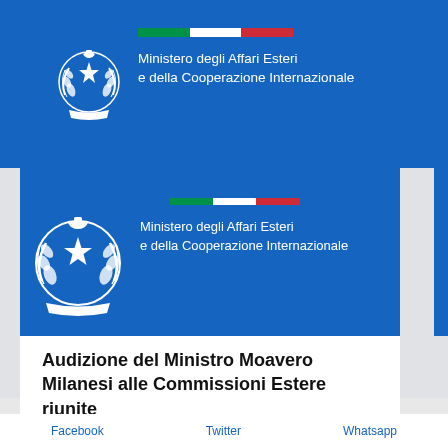[Figure (logo): Italian Republic emblem (white wreath and star on blue) with Italian flag stripe and ministry name text: Ministero degli Affari Esteri e della Cooperazione Internazionale — top blue banner version]
[Figure (logo): Italian Republic emblem (white wreath and star on blue) with Italian flag stripe and ministry name text: Ministero degli Affari Esteri e della Cooperazione Internazionale — document card version]
Audizione del Ministro Moavero Milanesi alle Commissioni Estere riunite
Facebook   Twitter   Whatsapp